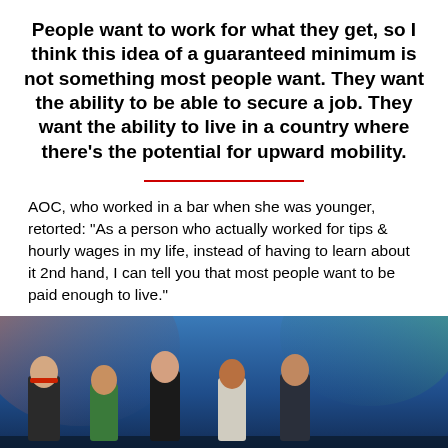People want to work for what they get, so I think this idea of a guaranteed minimum is not something most people want. They want the ability to be able to secure a job. They want the ability to live in a country where there’s the potential for upward mobility.
AOC, who worked in a bar when she was younger, retorted: “As a person who actually worked for tips & hourly wages in my life, instead of having to learn about it 2nd hand, I can tell you that most people want to be paid enough to live.”
[Figure (photo): Panel of five people (three men, one woman, one older man) seated on a stage with blue lighting and colorful background.]
[Figure (infographic): Advertisement bar: red circular logo with eagle, text reading 'Making an international money transfer? Get bank-beating exchange rates', with a dark close/X button.]